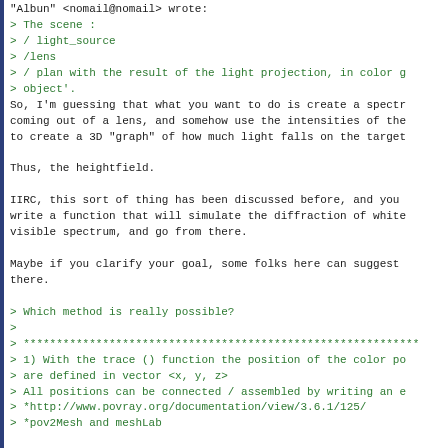"Albun" <nomail@nomail> wrote:
> The scene :
> / light_source
> /lens
> / plan with the result of the light projection, in color g
> object'.
So, I'm guessing that what you want to do is create a spectr
coming out of a lens, and somehow use the intensities of the
to create a 3D "graph" of how much light falls on the target
Thus, the heightfield.
IIRC, this sort of thing has been discussed before, and you
write a function that will simulate the diffraction of white
visible spectrum, and go from there.
Maybe if you clarify your goal, some folks here can suggest
there.
> Which method is really possible?
>
> ******************************************************************
> 1) With the trace () function the position of the color po
> are defined in vector <x, y, z>
> All positions can be connected / assembled by writing an e
> *http://www.povray.org/documentation/view/3.6.1/125/
> *pov2Mesh and meshLab